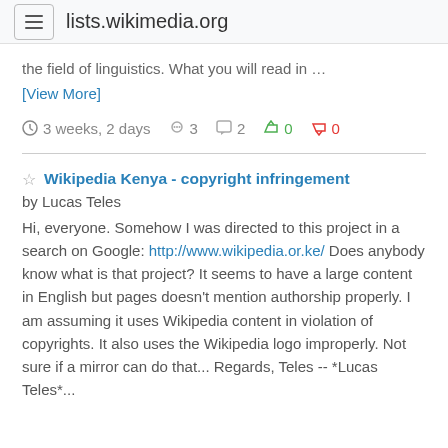lists.wikimedia.org
the field of linguistics. What you will read in …
[View More]
3 weeks, 2 days  3  2  0  0
Wikipedia Kenya - copyright infringement
by Lucas Teles
Hi, everyone. Somehow I was directed to this project in a search on Google: http://www.wikipedia.or.ke/ Does anybody know what is that project? It seems to have a large content in English but pages doesn't mention authorship properly. I am assuming it uses Wikipedia content in violation of copyrights. It also uses the Wikipedia logo improperly. Not sure if a mirror can do that... Regards, Teles -- *Lucas Teles*...